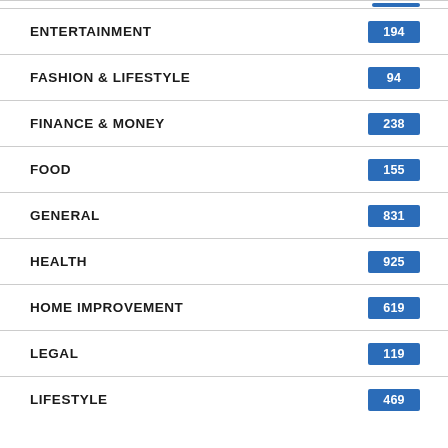ENTERTAINMENT
FASHION & LIFESTYLE
FINANCE & MONEY
FOOD
GENERAL
HEALTH
HOME IMPROVEMENT
LEGAL
LIFESTYLE